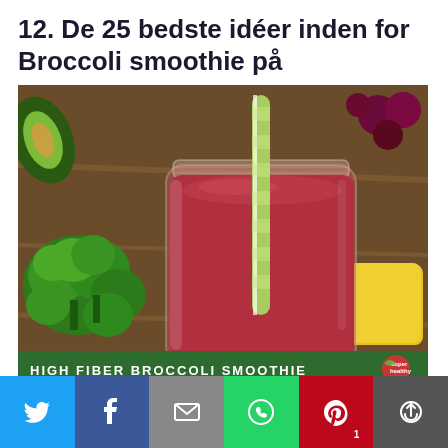12. De 25 bedste idéer inden for Broccoli smoothie på
[Figure (photo): Close-up photo of a dark red/purple broccoli smoothie in a glass mason jar with a green and white striped straw, surrounded by fresh broccoli florets and other ingredients on a wooden surface. Green banner at bottom reads HIGH FIBER BROCCOLI SMOOTHIE with Super Healthy Kids logo.]
[Figure (infographic): Social media share bar with six buttons: Twitter (blue), Facebook (dark blue), Email (grey), WhatsApp (green), Pinterest (red, count: 1), More/other (dark grey)]